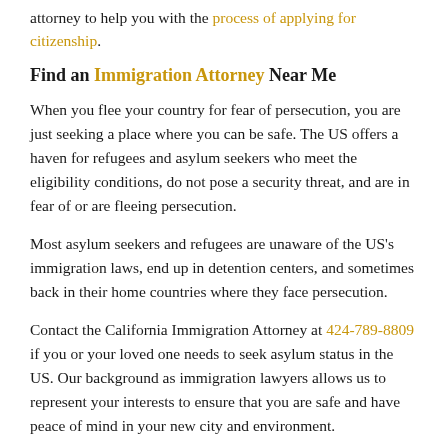attorney to help you with the process of applying for citizenship.
Find an Immigration Attorney Near Me
When you flee your country for fear of persecution, you are just seeking a place where you can be safe. The US offers a haven for refugees and asylum seekers who meet the eligibility conditions, do not pose a security threat, and are in fear of or are fleeing persecution.
Most asylum seekers and refugees are unaware of the US's immigration laws, end up in detention centers, and sometimes back in their home countries where they face persecution.
Contact the California Immigration Attorney at 424-789-8809 if you or your loved one needs to seek asylum status in the US. Our background as immigration lawyers allows us to represent your interests to ensure that you are safe and have peace of mind in your new city and environment.